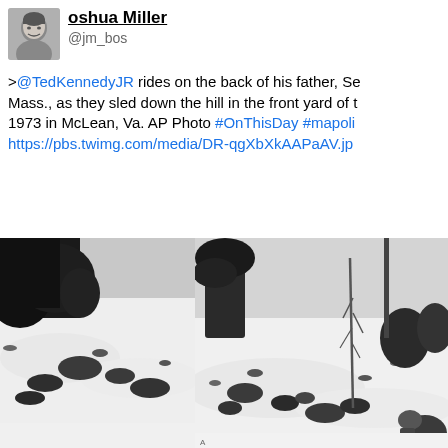[Figure (photo): Twitter/social media post. Profile photo of a man (Joshua Miller) in the top left. Username shown as 'oshua Miller' (partially cropped) with handle '@jm_bos'. Tweet text reads: '>@TedKennedyJR rides on the back of his father, Se... Mass., as they sled down the hill in the front yard of t... 1973 in McLean, Va. AP Photo #OnThisDay #mapoli https://pbs.twimg.com/media/DR-qgXbXkAAPaAV.jp...' Below the text is a black-and-white AP photo showing a snowy hillside with trees and a person sledding.]